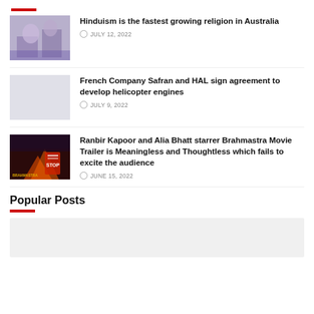Hinduism is the fastest growing religion in Australia — JULY 12, 2022
French Company Safran and HAL sign agreement to develop helicopter engines — JULY 9, 2022
Ranbir Kapoor and Alia Bhatt starrer Brahmastra Movie Trailer is Meaningless and Thoughtless which fails to excite the audience — JUNE 15, 2022
Popular Posts
[Figure (photo): Empty/placeholder thumbnail area at the bottom of the page]